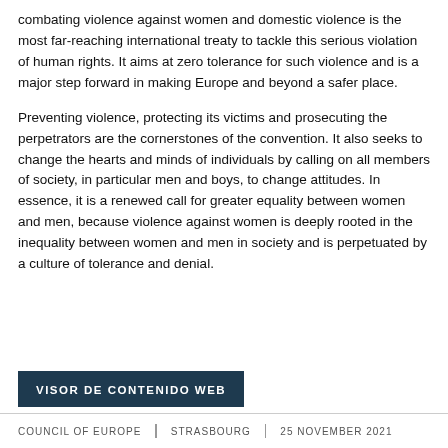combating violence against women and domestic violence is the most far-reaching international treaty to tackle this serious violation of human rights. It aims at zero tolerance for such violence and is a major step forward in making Europe and beyond a safer place.
Preventing violence, protecting its victims and prosecuting the perpetrators are the cornerstones of the convention. It also seeks to change the hearts and minds of individuals by calling on all members of society, in particular men and boys, to change attitudes. In essence, it is a renewed call for greater equality between women and men, because violence against women is deeply rooted in the inequality between women and men in society and is perpetuated by a culture of tolerance and denial.
VISOR DE CONTENIDO WEB
COUNCIL OF EUROPE | STRASBOURG | 25 NOVEMBER 2021